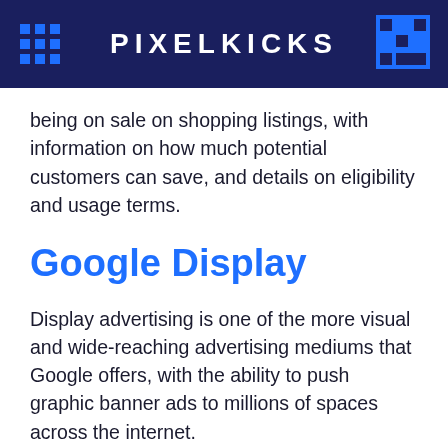PIXELKICKS
being on sale on shopping listings, with information on how much potential customers can save, and details on eligibility and usage terms.
Google Display
Display advertising is one of the more visual and wide-reaching advertising mediums that Google offers, with the ability to push graphic banner ads to millions of spaces across the internet.
The Google Display Network is a vast selection of millions of opted-in websites and apps, as well as Google's own sites including YouTube and Gmail